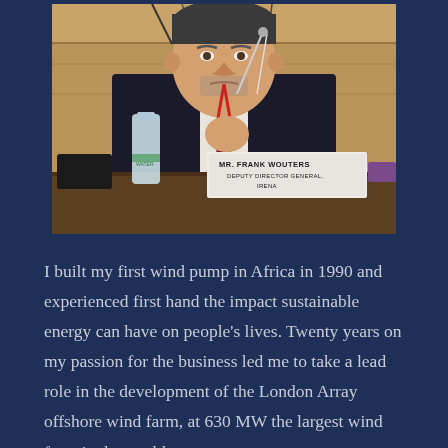[Figure (photo): A man in a dark suit with a red lanyard sits at a conference table speaking at a microphone. A name placard reads 'MR. FRANK WOUTERS, DEPUTY DIRECTOR GENERAL, IRENA'. A water bottle is on the table in front of him.]
I built my first wind pump in Africa in 1990 and experienced first hand the impact sustainable energy can have on people's lives. Twenty years on my passion for the business led me to take a lead role in the development of the London Array offshore wind farm, at 630 MW the largest wind farm in the world.